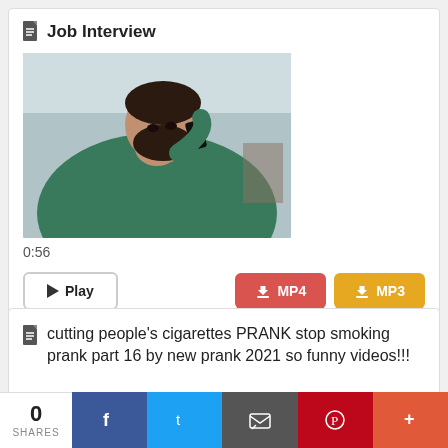Job Interview
[Figure (photo): Man in green shirt talking on a phone, shot from above at close range]
0:56
Play  MP4  MP3
cutting people's cigarettes PRANK stop smoking prank part 16 by new prank 2021 so funny videos!!!
0 SHARES  f  t  email  p  +